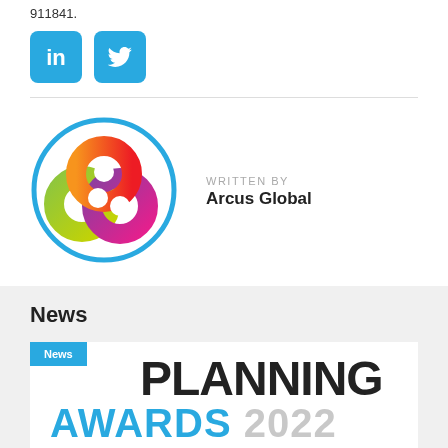911841.
[Figure (logo): LinkedIn and Twitter social media icons (blue rounded squares)]
[Figure (logo): Arcus Global circular logo with colorful overlapping rings inside a cyan circle border]
WRITTEN BY
Arcus Global
News
[Figure (logo): Planning Awards 2022 logo with black PLANNING text, cyan AWARDS text and gray 2022 numerals, with a News badge overlay]